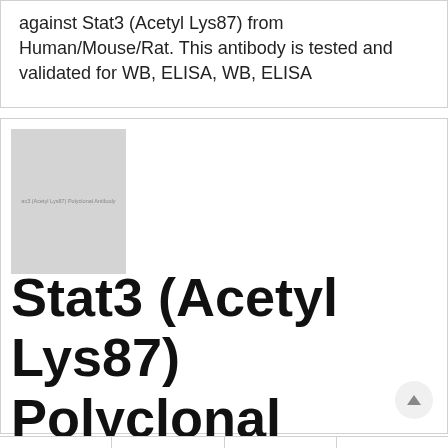against Stat3 (Acetyl Lys87) from Human/Mouse/Rat. This antibody is tested and validated for WB, ELISA, WB, ELISA
[Figure (photo): Small thumbnail image of Stat3 (Acetyl Lys87) Polyclonal Antibody product, gray placeholder with label text]
Stat3 (Acetyl Lys87) Polyclonal Antibody